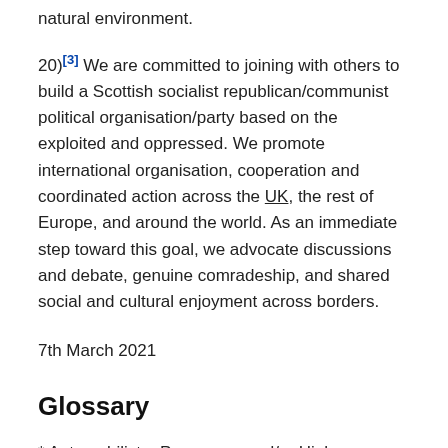natural environment.
20)[3] We are committed to joining with others to build a Scottish socialist republican/communist political organisation/party based on the exploited and oppressed. We promote international organisation, cooperation and coordinated action across the UK, the rest of Europe, and around the world. As an immediate step toward this goal, we advocate discussions and debate, genuine comradeship, and shared social and cultural enjoyment across borders.
7th March 2021
Glossary
* Automobiliste: Passenger and/or High-